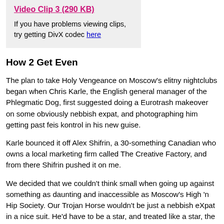Video Clip 3 (290 KB)
If you have problems viewing clips, try getting DivX codec here
How 2 Get Even
The plan to take Holy Vengeance on Moscow's elitny nightclubs began when Chris Karle, the English general manager of the Phlegmatic Dog, first suggested doing a Eurotrash makeover on some obviously nebbish expat, and photographing him getting past feis kontrol in his new guise.
Karle bounced it off Alex Shifrin, a 30-something Canadian who owns a local marketing firm called The Creative Factory, and from there Shifrin pushed it on me.
We decided that we couldn't think small when going up against something as daunting and inaccessible as Moscow's High 'n Hip Society. Our Trojan Horse wouldn't be just a nebbish eXpat in a nice suit. He'd have to be a star, and treated like a star, the creme de la creme at the very clubs who once chased him away from the door. We'd try to convince the club directors that our eXhole is a famous New York "nightlife clubbing figure," a controversial celebrity in the fashion/paparazzi and music world, a DJ who pioneered a new style of electronica called "Progressive Retro" and then abandoned it after a falling out with Madonna.